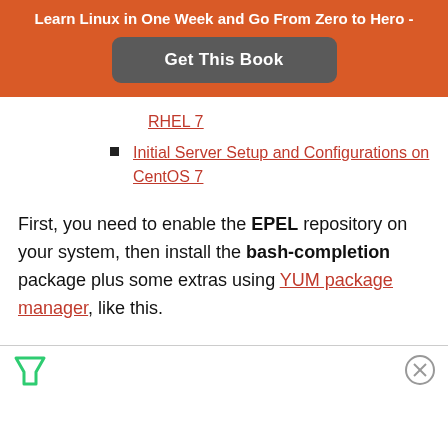Learn Linux in One Week and Go From Zero to Hero -
Get This Book
RHEL 7
Initial Server Setup and Configurations on CentOS 7
First, you need to enable the EPEL repository on your system, then install the bash-completion package plus some extras using YUM package manager, like this.
[Figure (other): Advertisement bar with filter icon and close button]